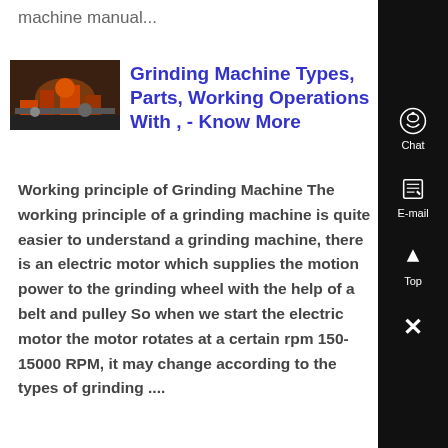machine manual...
[Figure (photo): Thumbnail photo of a grinding machine in an industrial setting with orange/red machinery.]
Grinding Machine Types, Parts, Working Operations With , - Know More
Working principle of Grinding Machine The working principle of a grinding machine is quite easier to understand a grinding machine, there is an electric motor which supplies the motion power to the grinding wheel with the help of a belt and pulley So when we start the electric motor the motor rotates at a certain rpm 150-15000 RPM, it may change according to the types of grinding ....